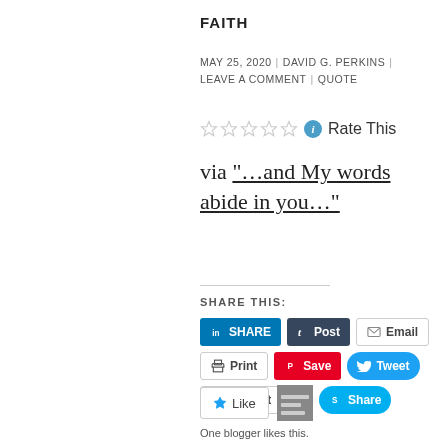FAITH
MAY 25, 2020 | DAVID G. PERKINS | LEAVE A COMMENT | QUOTE
Rate This
via “…and My words abide in you…”
SHARE THIS:
[Figure (other): Social share buttons: LinkedIn SHARE, Tumblr Post, Email, Print, Pinterest Save, Twitter Tweet, Pocket (0), Skype Share]
[Figure (other): Like button and blogger thumbnail]
One blogger likes this.